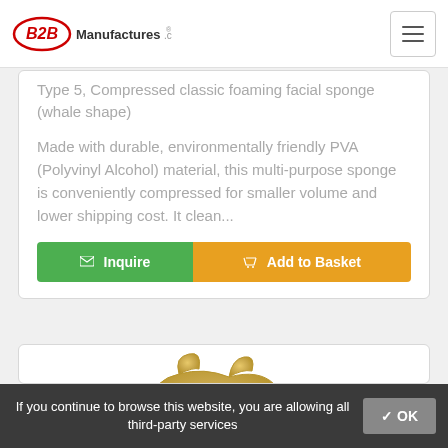B2BManufactures.com
Type 5, Compressed classic foaming facial sponge (whale shape)
Made with durable, environmentally friendly PVA (Polyvinyl Alcohol) material, this multi-purpose sponge is conveniently compressed for smaller volume and lower shipping cost. It clean...
Inquire  Add to Basket
[Figure (photo): A yellow/tan compressed PVA sponge in a whale/animal shape]
If you continue to browse this website, you are allowing all third-party services  ✓ OK